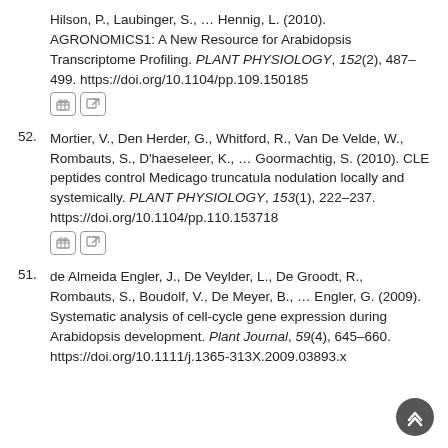Hilson, P., Laubinger, S., … Hennig, L. (2010). AGRONOMICS1: A New Resource for Arabidopsis Transcriptome Profiling. PLANT PHYSIOLOGY, 152(2), 487–499. https://doi.org/10.1104/pp.109.150185
52. Mortier, V., Den Herder, G., Whitford, R., Van De Velde, W., Rombauts, S., D'haeseleer, K., … Goormachtig, S. (2010). CLE peptides control Medicago truncatula nodulation locally and systemically. PLANT PHYSIOLOGY, 153(1), 222–237. https://doi.org/10.1104/pp.110.153718
51. de Almeida Engler, J., De Veylder, L., De Groodt, R., Rombauts, S., Boudolf, V., De Meyer, B., … Engler, G. (2009). Systematic analysis of cell-cycle gene expression during Arabidopsis development. Plant Journal, 59(4), 645–660. https://doi.org/10.1111/j.1365-313X.2009.03893.x